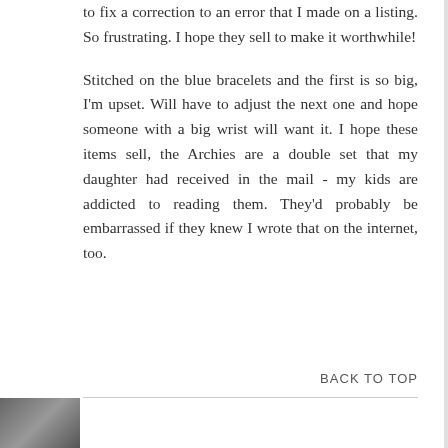to fix a correction to an error that I made on a listing. So frustrating. I hope they sell to make it worthwhile!

Stitched on the blue bracelets and the first is so big, I'm upset. Will have to adjust the next one and hope someone with a big wrist will want it. I hope these items sell, the Archies are a double set that my daughter had received in the mail - my kids are addicted to reading them. They'd probably be embarrassed if they knew I wrote that on the internet, too.
BACK TO TOP
[Figure (photo): Small thumbnail image in bottom left corner]